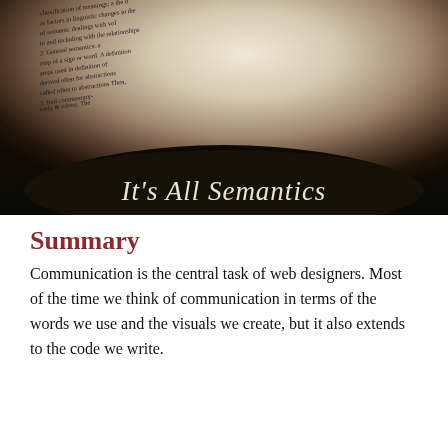[Figure (photo): Close-up photo of an open book with curved pages showing dictionary-style text. The bottom portion is dark (book spine/shadow area) with overlaid text reading 'It's All Semantics' in italic serif font against the dark background.]
Summary
Communication is the central task of web designers. Most of the time we think of communication in terms of the words we use and the visuals we create, but it also extends to the code we write.